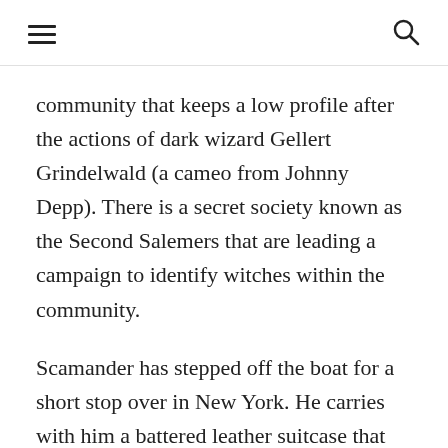[hamburger menu] [search icon]
community that keeps a low profile after the actions of dark wizard Gellert Grindelwald (a cameo from Johnny Depp). There is a secret society known as the Second Salemers that are leading a campaign to identify witches within the community.
Scamander has stepped off the boat for a short stop over in New York. He carries with him a battered leather suitcase that contains some samples of strange creatures great and small. He accidentally bumps into klutzy wannabe